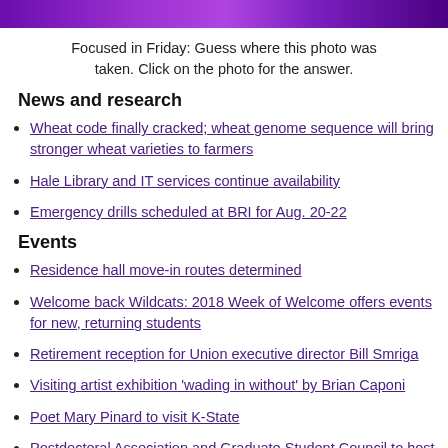[Figure (photo): Colorful purple and pink patterned photo strip at the top of the page]
Focused in Friday: Guess where this photo was taken. Click on the photo for the answer.
News and research
Wheat code finally cracked; wheat genome sequence will bring stronger wheat varieties to farmers
Hale Library and IT services continue availability
Emergency drills scheduled at BRI for Aug. 20-22
Events
Residence hall move-in routes determined
Welcome back Wildcats: 2018 Week of Welcome offers events for new, returning students
Retirement reception for Union executive director Bill Smriga
Visiting artist exhibition 'wading in without' by Brian Caponi
Poet Mary Pinard to visit K-State
Postdoctoral Association and Graduate Student Council to host